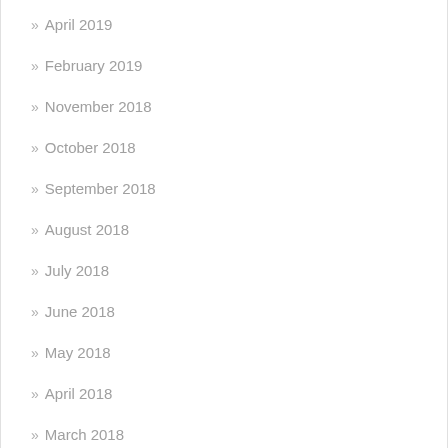April 2019
February 2019
November 2018
October 2018
September 2018
August 2018
July 2018
June 2018
May 2018
April 2018
March 2018
February 2018
January 2018